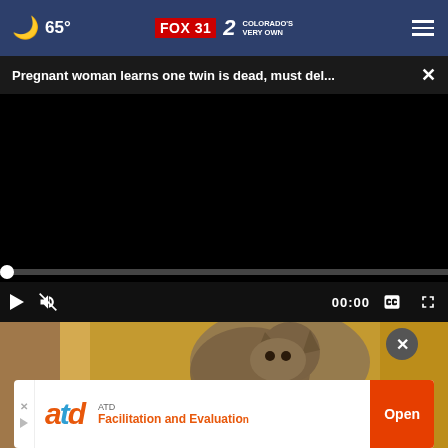65° FOX 31 2 COLORADO'S VERY OWN
Pregnant woman learns one twin is dead, must del... ×
[Figure (screenshot): Black video player area with progress bar and playback controls showing 00:00 timestamp, play button, mute button, captions button, and fullscreen button]
[Figure (photo): Partial image of a cat visible at the bottom of the page with blurred warm-toned background]
ATD Facilitation and Evaluation Open